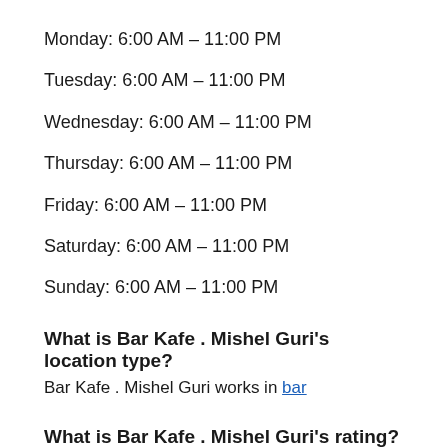Monday:  6:00 AM – 11:00 PM
Tuesday:  6:00 AM – 11:00 PM
Wednesday:  6:00 AM – 11:00 PM
Thursday:  6:00 AM – 11:00 PM
Friday:  6:00 AM – 11:00 PM
Saturday:  6:00 AM – 11:00 PM
Sunday:  6:00 AM – 11:00 PM
What is Bar Kafe . Mishel Guri's location type?
Bar Kafe . Mishel Guri works in bar
What is Bar Kafe . Mishel Guri's rating?
The rating that Bar Kafe . Mishel Guri received from customers is 5
Where are the coordinates of Bar Kafe . Mishel Guri?